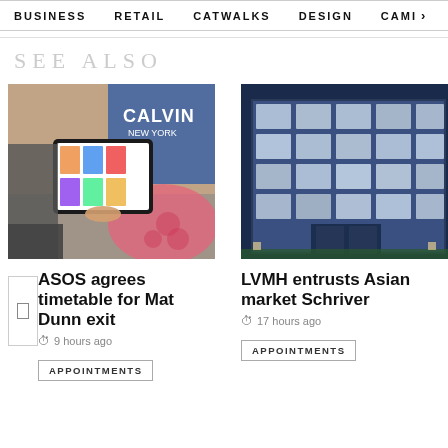BUSINESS   RETAIL   CATWALKS   DESIGN   CAMI >
SEE ALSO
[Figure (photo): Person sitting and browsing fashion items on a tablet/iPad, wearing pink leopard print clothing, with another person in a blue Calvin Klein shirt in background]
ASOS agrees timetable for Mat Dunn exit
9 hours ago
APPOINTMENTS
[Figure (photo): Exterior of a modern glass building at night, illuminated from within, showing a multi-story retail or office building with glass facade]
LVMH entrusts Asian market Schriver
17 hours ago
APPOINTMENTS